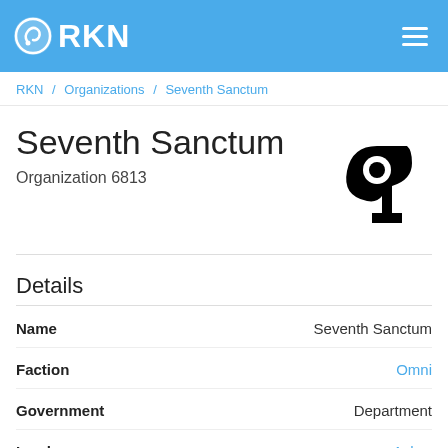RKN
RKN / Organizations / Seventh Sanctum
Seventh Sanctum
Organization 6813
[Figure (logo): Seventh Sanctum organization logo — a stylized black arrow/key symbol]
Details
| Field | Value |
| --- | --- |
| Name | Seventh Sanctum |
| Faction | Omni |
| Government | Department |
| Leader | Ashur |